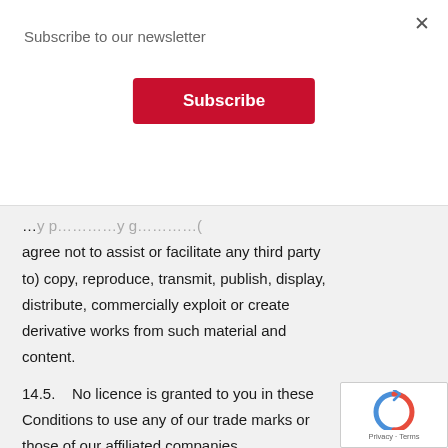Subscribe to our newsletter
Subscribe
agree not to assist or facilitate any third party to) copy, reproduce, transmit, publish, display, distribute, commercially exploit or create derivative works from such material and content.
14.5.    No licence is granted to you in these Conditions to use any of our trade marks or those of our affiliated companies.
14.6.    Goods sold by us and Website